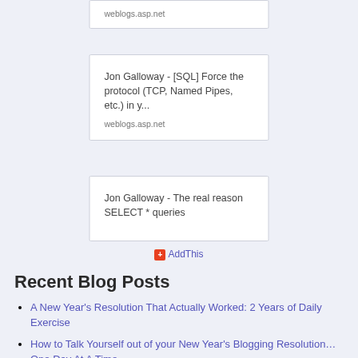weblogs.asp.net
Jon Galloway - [SQL] Force the protocol (TCP, Named Pipes, etc.) in y...
weblogs.asp.net
Jon Galloway - The real reason SELECT * queries
+ AddThis
Recent Blog Posts
A New Year's Resolution That Actually Worked: 2 Years of Daily Exercise
How to Talk Yourself out of your New Year's Blogging Resolution… One Day At A Time